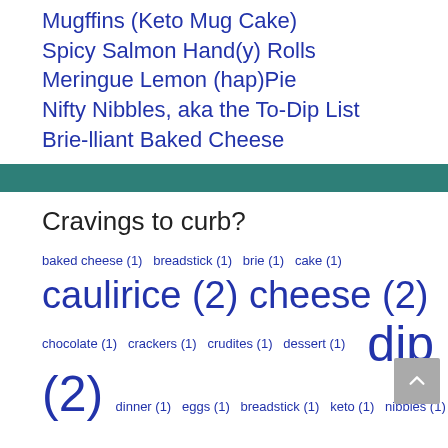Mugffins (Keto Mug Cake)
Spicy Salmon Hand(y) Rolls
Meringue Lemon (hap)Pie
Nifty Nibbles, aka the To-Dip List
Brie-lliant Baked Cheese
Cravings to curb?
baked cheese (1)  breadstick (1)  brie (1)  cake (1)
caulirice (2)  cheese (2)
chocolate (1)  crackers (1)  crudites (1)  dessert (1)  dip (2)
dinner (1)  eggs (1)  breadstick (1)  keto (1)  nibbles (1)